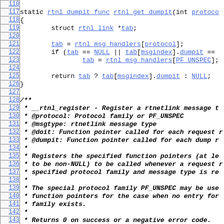[Figure (screenshot): Source code listing showing C function rtnl_get_dumpit and beginning of __rtnl_register documentation comment, with line numbers 110-146 visible on the left.]